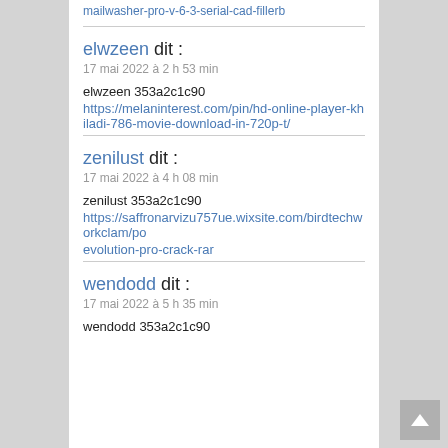mailwasher-pro-v-6-3-serial-cad-fillerb
elwzeen dit :
17 mai 2022 à 2 h 53 min
elwzeen 353a2c1c90
https://melaninterest.com/pin/hd-online-player-khiladi-786-movie-download-in-720p-t/
zenilust dit :
17 mai 2022 à 4 h 08 min
zenilust 353a2c1c90
https://saffronarvizu757ue.wixsite.com/birdtechworkclam/po evolution-pro-crack-rar
wendodd dit :
17 mai 2022 à 5 h 35 min
wendodd 353a2c1c90